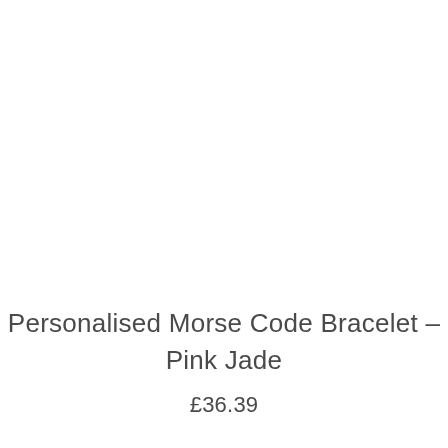Personalised Morse Code Bracelet – Pink Jade
£36.39